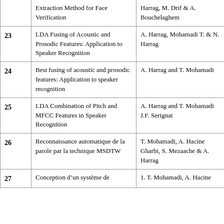| # | Title | Authors |
| --- | --- | --- |
|  | Extraction Method for Face Verification | Harrag, M. Drif & A. Bouchelaghem |
| 23 | LDA Fusing of Acoustic and Prosodic Features: Application to Speaker Recognition | A. Harrag, Mohamadi T. & N. Harrag |
| 24 | Best fusing of acoustic and prosodic features: Application to speaker recognition | A. Harrag and T. Mohamadi |
| 25 | LDA Combination of Pitch and MFCC Features in Speaker Recognition | A. Harrag and T. Mohamadi J.F. Serignat |
| 26 | Reconnaissance automatique de la parole par la technique MSDTW | T. Mohamadi, A. Hacine Gharbi, S. Mezaache & A. Harrag |
| 27 | Conception d'un système de | 1. T. Mohamadi, A. Hacine |